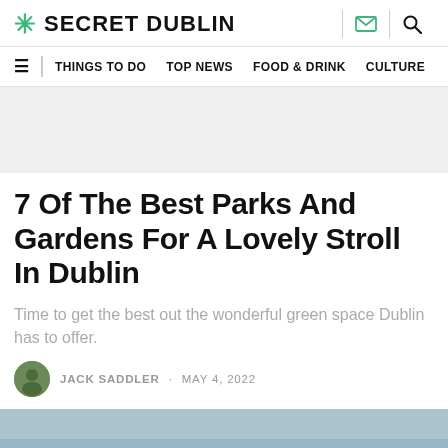* SECRET DUBLIN
THINGS TO DO  TOP NEWS  FOOD & DRINK  CULTURE
7 Of The Best Parks And Gardens For A Lovely Stroll In Dublin
Time to get the best out the wonderful green space Dublin has to offer.
JACK SADDLER · MAY 4, 2022
[Figure (photo): Hero image strip at the bottom of the page showing a park or green space]